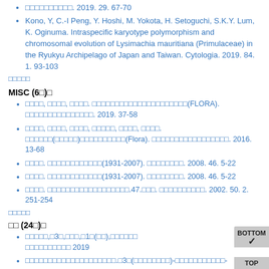□□□□□□□□□□. 2019. 29. 67-70
Kono, Y, C.-I Peng, Y. Hoshi, M. Yokota, H. Setoguchi, S.K.Y. Lum, K. Oginuma. Intraspecific karyotype polymorphism and chromosomal evolution of Lysimachia mauritiana (Primulaceae) in the Ryukyu Archipelago of Japan and Taiwan. Cytologia. 2019. 84. 1. 93-103
□□□□□
MISC (6□)□
□□□□, □□□□, □□□□. □□□□□□□□□□□□□□□□□□□□□(FLORA). □□□□□□□□□□□□□□□. 2019. 37-58
□□□□, □□□□, □□□□, □□□□□, □□□□, □□□□. □□□□□□(□□□□□)□□□□□□□□□□(Flora). □□□□□□□□□□□□□□□□□. 2016. 13-68
□□□□. □□□□□□□□□□□□(1931-2007). □□□□□□□□. 2008. 46. 5-22
□□□□. □□□□□□□□□□□□(1931-2007). □□□□□□□□. 2008. 46. 5-22
□□□□. □□□□□□□□□□□□□□□□□□.47.□□□. □□□□□□□□□□. 2002. 50. 2. 251-254
□□□□□
□□ (24□)□
□□□□□,□3□,□□□,□1□(□□),□□□□□□□
□□□□□□□□□□ 2019
□□□□□□□□□□□□□□□□□□□□.□3□(□□□□□□□□)-□□□□□□□□□□□-